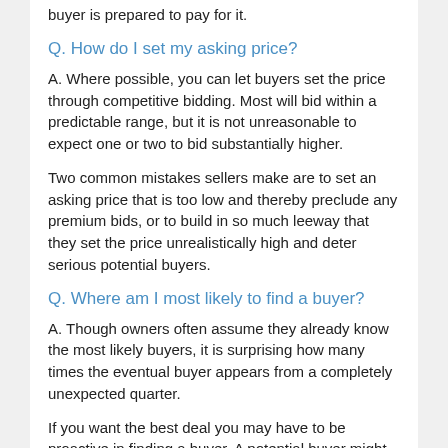buyer is prepared to pay for it.
Q. How do I set my asking price?
A. Where possible, you can let buyers set the price through competitive bidding. Most will bid within a predictable range, but it is not unreasonable to expect one or two to bid substantially higher.
Two common mistakes sellers make are to set an asking price that is too low and thereby preclude any premium bids, or to build in so much leeway that they set the price unrealistically high and deter serious potential buyers.
Q. Where am I most likely to find a buyer?
A. Though owners often assume they already know the most likely buyers, it is surprising how many times the eventual buyer appears from a completely unexpected quarter.
If you want the best deal you may have to be proactive in finding a buyer. A potential buyer might